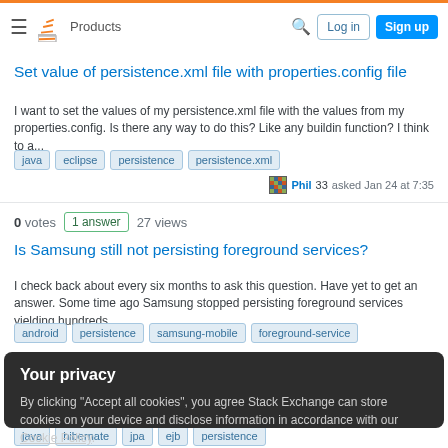Stack Overflow — Products | Log in | Sign up
Set value of persistence.xml file with properties.config file
I want to set the values of my persistence.xml file with the values from my properties.config. Is there any way to do this? Like any buildin function? I think to a...
java  eclipse  persistence  persistence.xml
Phil 33 asked Jan 24 at 7:35
0 votes  1 answer  27 views
Is Samsung still not persisting foreground services?
I check back about every six months to ask this question. Have yet to get an answer. Some time ago Samsung stopped persisting foreground services yielding hundreds...
android  persistence  samsung-mobile  foreground-service
Your privacy
By clicking "Accept all cookies", you agree Stack Exchange can store cookies on your device and disclose information in accordance with our Cookie Policy.
Accept all cookies  Customize settings
java  hibernate  jpa  ejb  persistence